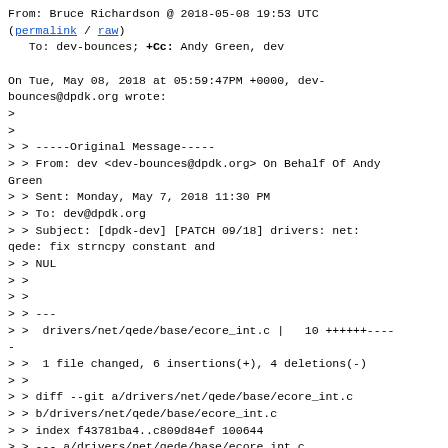From: Bruce Richardson @ 2018-05-08 19:53 UTC
(permalink / raw)
   To: dev-bounces; +Cc: Andy Green, dev

On Tue, May 08, 2018 at 05:59:47PM +0000, dev-bounces@dpdk.org wrote:
>
>
> > -----Original Message-----
> > From: dev <dev-bounces@dpdk.org> On Behalf Of Andy Green
> > Sent: Monday, May 7, 2018 11:30 PM
> > To: dev@dpdk.org
> > Subject: [dpdk-dev] [PATCH 09/18] drivers: net: qede: fix strncpy constant and
> > NUL
> >
> >
> > ---
> >  drivers/net/qede/base/ecore_int.c |   10 ++++++----
> >  -
> >  1 file changed, 6 insertions(+), 4 deletions(-)
> >
> > diff --git a/drivers/net/qede/base/ecore_int.c
> > b/drivers/net/qede/base/ecore_int.c
> > index f43781ba4..c809d84ef 100644
> > --- a/drivers/net/qede/base/ecore_int.c
> > +++ b/drivers/net/qede/base/ecore_int.c
> > @@ -1103,10 +1103,12 @@ static enum _ecore_status_t
> > ecore_int_deassertion(struct ecore_hwfn *p_hwfn,